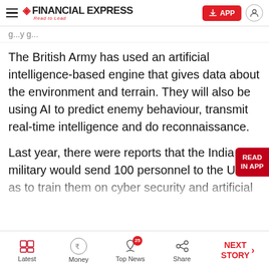FINANCIAL EXPRESS — Read to Lead — APP
The British Army has used an artificial intelligence-based engine that gives data about the environment and terrain. They will also be using AI to predict enemy behaviour, transmit real-time intelligence and do reconnaissance.
Last year, there were reports that the India military would send 100 personnel to the US so as to train them on cyber security and artificial intelligence, India needs to make better use of
Latest | Money | Top News 25 | Share | NEXT STORY